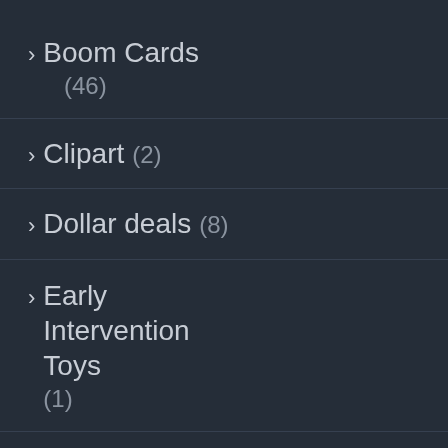> Boom Cards (46)
> Clipart (2)
> Dollar deals (8)
> Early Intervention Toys (1)
> Gift Ideas (6)